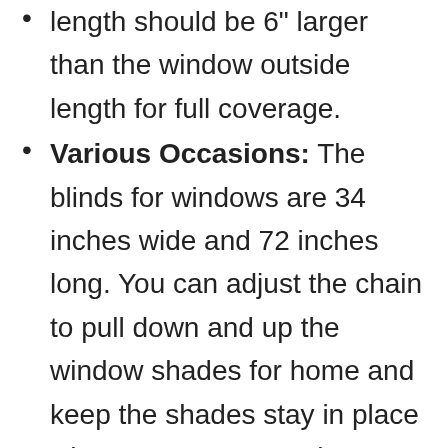length should be 6" larger than the window outside length for full coverage.
Various Occasions: The blinds for windows are 34 inches wide and 72 inches long. You can adjust the chain to pull down and up the window shades for home and keep the shades stay in place wherever you want. The length of the window shade is from 0 to 72". Plenty of sizes and colors are for you to choose from. Suitable for bedroom, study, kitchen, living room, office. A perfect choice to let your bedroom become elegant and silent.
Easy maintenance & After-sale service: Simply use a damp cloth or feather duster to clean the room darkening shades. Providing customers with the best products and services has always been our